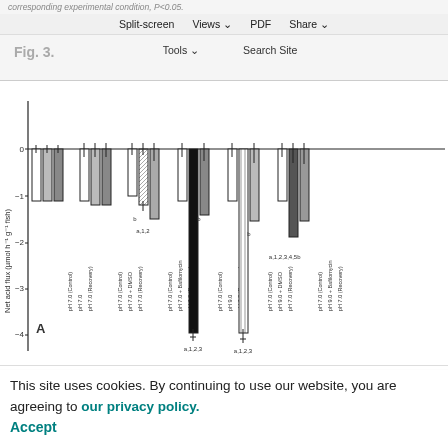corresponding experimental condition, P<0.05.
Split-screen  Views  PDF  Share
Fig. 3.
Tools  Search Site
[Figure (bar-chart): Bar chart showing net acid flux across multiple pH and treatment conditions. Panel A. Groups include control at pH 7.0, DMSO treatment, Bafilomycin treatment, pH 9.0 exposure, pH 9.0 + DMSO, and pH 9.0 + Bafilomycin. Some bars labeled a,1,2,3 or b indicating significant differences.]
This site uses cookies. By continuing to use our website, you are agreeing to our privacy policy.
Accept